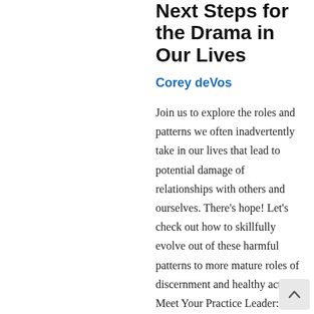Next Steps for the Drama in Our Lives
Corey deVos
Join us to explore the roles and patterns we often inadvertently take in our lives that lead to potential damage of relationships with others and ourselves. There's hope! Let's check out how to skillfully evolve out of these harmful patterns to more mature roles of discernment and healthy action. Meet Your Practice Leader: Now di...